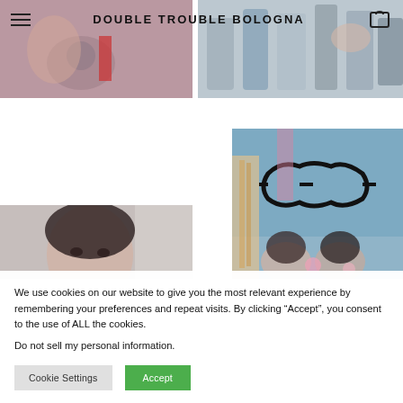DOUBLE TROUBLE BOLOGNA
[Figure (photo): Top-left photo: close-up of person with tattoo and red outfit]
[Figure (photo): Top-right photo: close-up of clothing/fabric in muted colors]
[Figure (photo): Bottom-right photo: two young women in front of graffiti wall with large illustrated glasses graphic]
[Figure (photo): Bottom-left photo: young woman with dark hair partially visible]
We use cookies on our website to give you the most relevant experience by remembering your preferences and repeat visits. By clicking “Accept”, you consent to the use of ALL the cookies.
Do not sell my personal information.
Cookie Settings
Accept